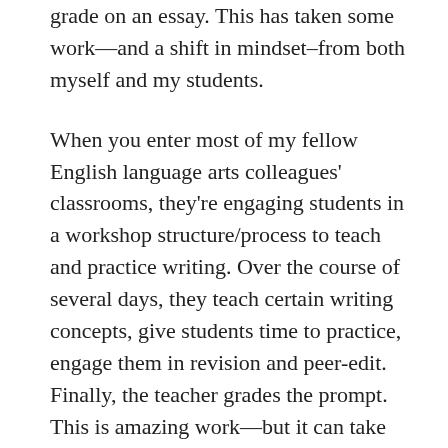grade on an essay. This has taken some work—and a shift in mindset–from both myself and my students.
When you enter most of my fellow English language arts colleagues' classrooms, they're engaging students in a workshop structure/process to teach and practice writing. Over the course of several days, they teach certain writing concepts, give students time to practice, engage them in revision and peer-edit. Finally, the teacher grades the prompt. This is amazing work—but it can take five to ten days to write one essay! As a